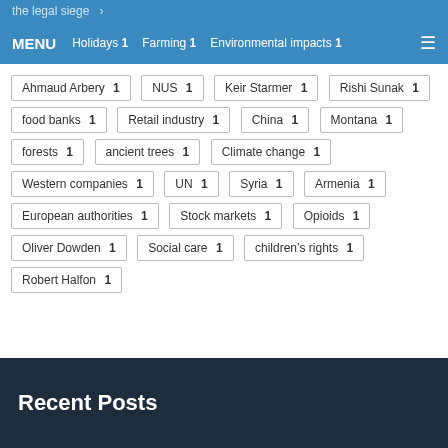MENU  Holidays 1  Farming 1  Environmental impacts 1
Ahmaud Arbery 1
NUS 1
Keir Starmer 1
Rishi Sunak 1
food banks 1
Retail industry 1
China 1
Montana 1
forests 1
ancient trees 1
Climate change 1
Western companies 1
UN 1
Syria 1
Armenia 1
European authorities 1
Stock markets 1
Opioids 1
Oliver Dowden 1
Social care 1
children's rights 1
Robert Halfon 1
Recent Posts